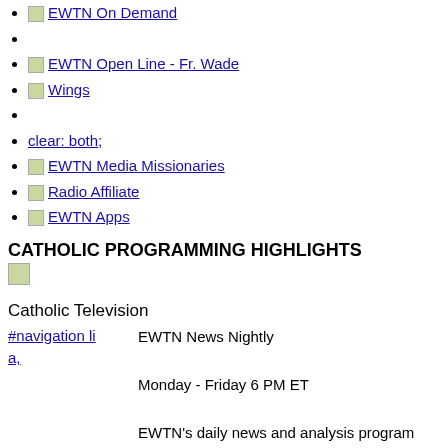EWTN On Demand
EWTN Open Line - Fr. Wade
Wings
clear: both;
EWTN Media Missionaries
Radio Affiliate
EWTN Apps
CATHOLIC PROGRAMMING HIGHLIGHTS
[Figure (other): Small icon/image placeholder]
Catholic Television
#navigation li a,
EWTN News Nightly
Monday - Friday 6 PM ET
EWTN's daily news and analysis program from Washington, DC.